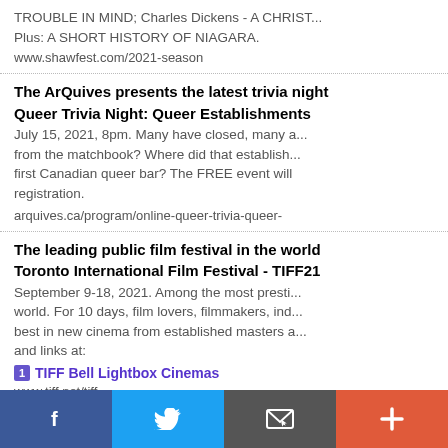TROUBLE IN MIND; Charles Dickens - A CHRIST... Plus: A SHORT HISTORY OF NIAGARA.
www.shawfest.com/2021-season
The ArQuives presents the latest trivia night
Queer Trivia Night: Queer Establishments
July 15, 2021, 8pm. Many have closed, many a... from the matchbook? Where did that establish... first Canadian queer bar? The FREE event will registration.
arquives.ca/program/online-queer-trivia-queer-
The leading public film festival in the world
Toronto International Film Festival - TIFF21
September 9-18, 2021. Among the most presti... world. For 10 days, film lovers, filmmakers, ind... best in new cinema from established masters a... and links at:
1 TIFF Bell Lightbox Cinemas
www.tiff.net/tiff